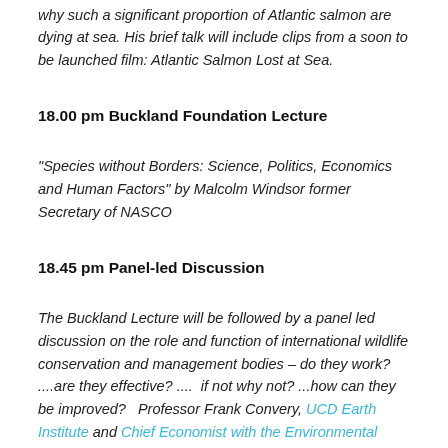why such a significant proportion of Atlantic salmon are dying at sea. His brief talk will include clips from a soon to be launched film: Atlantic Salmon Lost at Sea.
18.00 pm Buckland Foundation Lecture
"Species without Borders: Science, Politics, Economics and Human Factors" by Malcolm Windsor former Secretary of NASCO
18.45 pm Panel-led Discussion
The Buckland Lecture will be followed by a panel led discussion on the role and function of international wildlife conservation and management bodies – do they work? ....are they effective? ....  if not why not? ...how can they be improved?   Professor Frank Convery, UCD Earth Institute and Chief Economist with the Environmental Defense Fund in New York,  will chair both the Buckland Lecture and this important